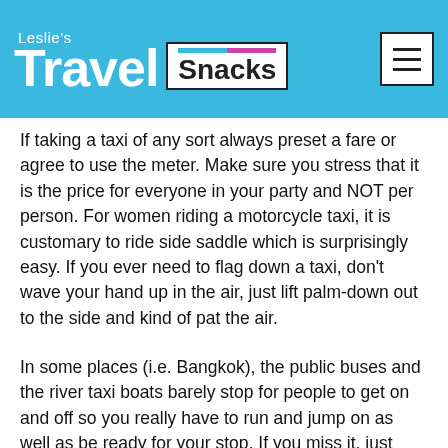Leslie's Travel Snacks
If taking a taxi of any sort always preset a fare or agree to use the meter. Make sure you stress that it is the price for everyone in your party and NOT per person. For women riding a motorcycle taxi, it is customary to ride side saddle which is surprisingly easy. If you ever need to flag down a taxi, don't wave your hand up in the air, just lift palm-down out to the side and kind of pat the air.
In some places (i.e. Bangkok), the public buses and the river taxi boats barely stop for people to get on and off so you really have to run and jump on as well as be ready for your stop. If you miss it, just stand near the front and get off at the next one.